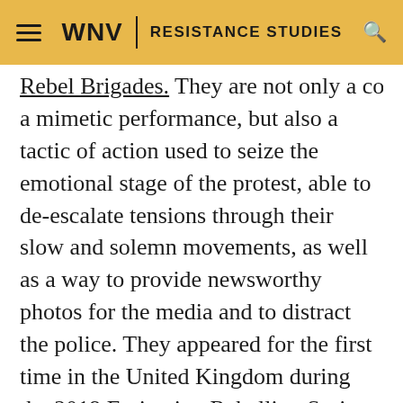WNV | RESISTANCE STUDIES
Rebel Brigades. They are not only a costume of a mimetic performance, but also a tactic of action used to seize the emotional stage of the protest, able to de-escalate tensions through their slow and solemn movements, as well as a way to provide newsworthy photos for the media and to distract the police. They appeared for the first time in the United Kingdom during the 2019 Extinction Rebellion Spring uprising, subsequently becoming a global phenomenon, popping up in many corners of the world. Recently, the Red Rebels Brigades took to the streets in Poland, usually appearing from nowhere with red light in adults